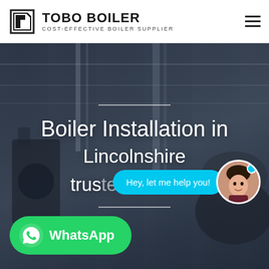[Figure (logo): Tobo Boiler logo with black geometric square icon and bold text TOBO BOILER with tagline COST-EFFECTIVE BOILER SUPPLIER]
[Figure (photo): Industrial boiler manufacturing facility interior with heavy machinery, steel structures, overhead cranes, and large cylindrical boiler components. Dark blue overlay tint.]
Boiler Installation in Lincolnshire trusted boiler m
Hey, let me help you!
WhatsApp